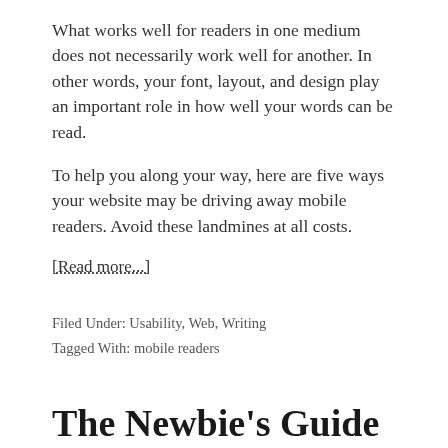What works well for readers in one medium does not necessarily work well for another. In other words, your font, layout, and design play an important role in how well your words can be read.
To help you along your way, here are five ways your website may be driving away mobile readers. Avoid these landmines at all costs.
[Read more...]
Filed Under: Usability, Web, Writing
Tagged With: mobile readers
The Newbie's Guide to Becoming a Better Writer